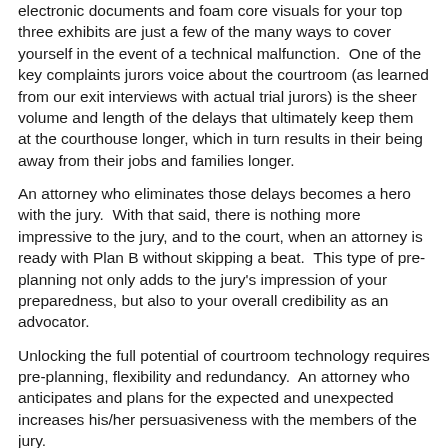electronic documents and foam core visuals for your top three exhibits are just a few of the many ways to cover yourself in the event of a technical malfunction.  One of the key complaints jurors voice about the courtroom (as learned from our exit interviews with actual trial jurors) is the sheer volume and length of the delays that ultimately keep them at the courthouse longer, which in turn results in their being away from their jobs and families longer.
An attorney who eliminates those delays becomes a hero with the jury.  With that said, there is nothing more impressive to the jury, and to the court, when an attorney is ready with Plan B without skipping a beat.  This type of pre-planning not only adds to the jury's impression of your preparedness, but also to your overall credibility as an advocator.
Unlocking the full potential of courtroom technology requires pre-planning, flexibility and redundancy.  An attorney who anticipates and plans for the expected and unexpected increases his/her persuasiveness with the members of the jury.
[Figure (photo): Circular portrait photo of a person, partially visible at bottom of page, showing head and shoulders against a brown circular frame background.]